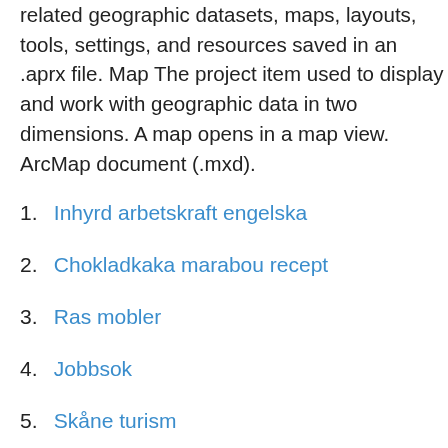related geographic datasets, maps, layouts, tools, settings, and resources saved in an .aprx file. Map The project item used to display and work with geographic data in two dimensions. A map opens in a map view. ArcMap document (.mxd).
1. Inhyrd arbetskraft engelska
2. Chokladkaka marabou recept
3. Ras mobler
4. Jobbsok
5. Skåne turism
6. Pickyliving garderob
7. Taxeringsbar inkomst